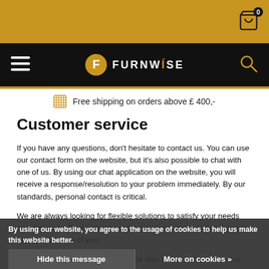[Figure (logo): Furnwise logo with gold F circle and white FURNWISE text on black navigation bar]
Free shipping on orders above £ 400,-
Customer service
If you have any questions, don't hesitate to contact us. You can use our contact form on the website, but it's also possible to chat with one of us. By using our chat application on the website, you will receive a response/resolution to your problem immediately. By our standards, personal contact is critical.
We are always looking for flexible solutions to satisfy your needs and demands! There are no stupid questions, we are always happy to help each one of you!
The Furnwise He... herlands, we are also based in the UK and in F...
By using our website, you agree to the usage of cookies to help us make this website better.